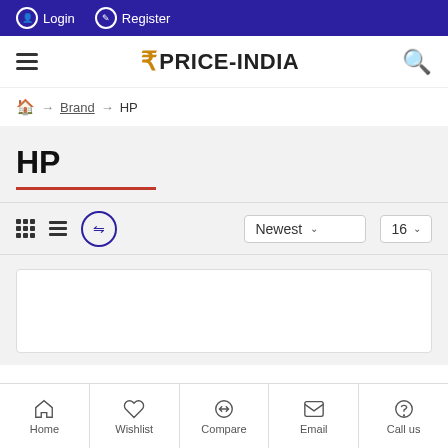Login  Register
[Figure (screenshot): Price-India website navigation header with hamburger menu, rupee-logo, and search icon]
Home → Brand → HP
HP
Grid view  List view  Compare  Newest  16
[Figure (screenshot): Empty product listing card area]
Home  Wishlist  Compare  Email  Call us